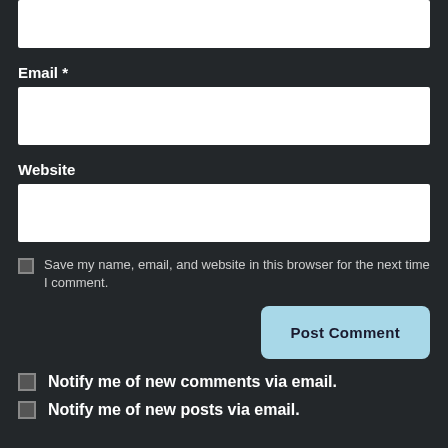[Figure (screenshot): Partial text input box at the top of the page (top cropped)]
Email *
[Figure (screenshot): Email input field (white rectangular box)]
Website
[Figure (screenshot): Website input field (white rectangular box)]
Save my name, email, and website in this browser for the next time I comment.
Post Comment
Notify me of new comments via email.
Notify me of new posts via email.